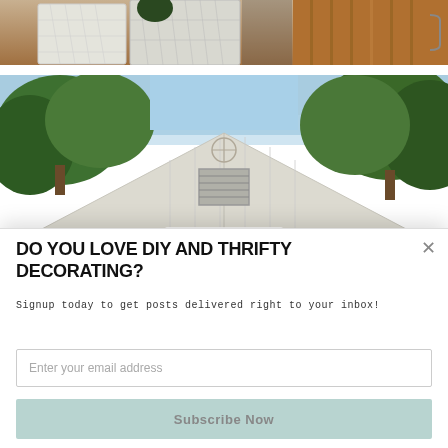[Figure (photo): Partial top view of white laundry baskets/storage containers on a floor with wood cabinet visible on right side]
[Figure (photo): Exterior photo of a white barn/shed with a peaked roof, louvered vent near the top, surrounded by green trees. A Sumo logo watermark is visible in the lower center area of the image.]
DO YOU LOVE DIY AND THRIFTY DECORATING?
Signup today to get posts delivered right to your inbox!
Enter your email address
Subscribe Now